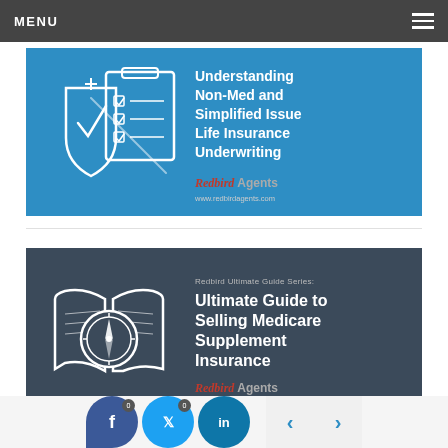MENU
[Figure (illustration): Blue banner with white line-art icons of a shield with checkmark and a checklist/clipboard, alongside text: Understanding Non-Med and Simplified Issue Life Insurance Underwriting, Redbird Agents logo, www.redbirdagents.com]
[Figure (illustration): Dark slate banner with white line-art icons of an open book and compass, alongside text: Redbird Ultimate Guide Series: Ultimate Guide to Selling Medicare Supplement Insurance, Redbird Agents logo]
Facebook 0 | Twitter 0 | LinkedIn | < | >